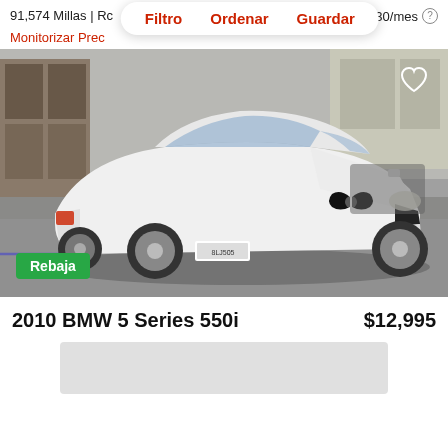91,574 Millas | Rc
est. $130/mes
Filtro   Ordenar   Guardar
Monitorizar Prec
[Figure (photo): White 2010 BMW 5 Series 550i parked in a lot, front three-quarter view, with heart/favorite icon top right and green Rebaja badge bottom left]
Rebaja
2010 BMW 5 Series 550i
$12,995